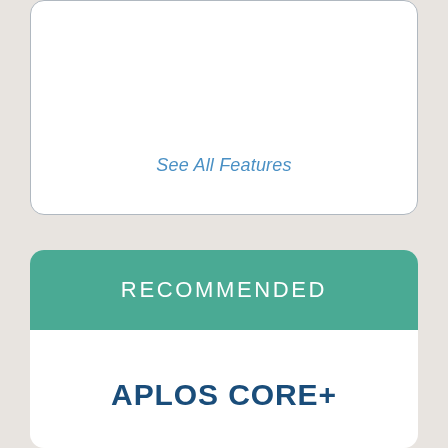See All Features
RECOMMENDED
APLOS CORE+